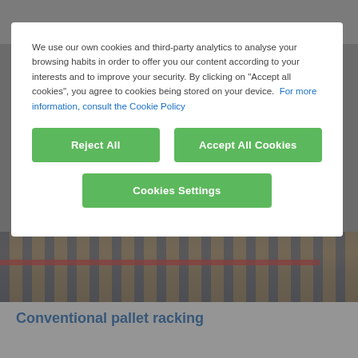[Figure (screenshot): Website screenshot showing a cookie consent modal dialog over a webpage for a warehouse racking company (Mecalux). The background shows a header with logo, a warehouse image with blue racking and red safety strip, and a section heading 'Conventional pallet racking' in blue. The modal overlay contains cookie consent text and three green buttons.]
We use our own cookies and third-party analytics to analyse your browsing habits in order to offer you our content according to your interests and to improve your security. By clicking on "Accept all cookies", you agree to cookies being stored on your device.  For more information, consult the Cookie Policy
Reject All
Accept All Cookies
Cookies Settings
Conventional pallet racking